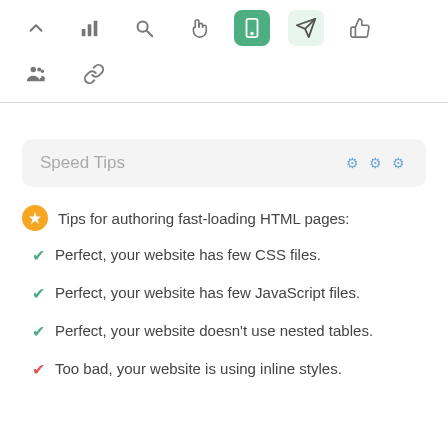[Figure (screenshot): Toolbar row 1 with icons: up arrow, bar chart, search, hand pointer, mobile phone (active green), send/rocket (active light green), thumbs up]
[Figure (screenshot): Toolbar row 2 with icons: group of people, chain/link]
Speed Tips
Tips for authoring fast-loading HTML pages:
Perfect, your website has few CSS files.
Perfect, your website has few JavaScript files.
Perfect, your website doesn't use nested tables.
Too bad, your website is using inline styles.